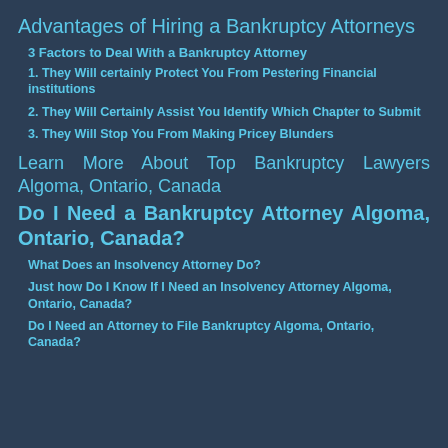Advantages of Hiring a Bankruptcy Attorneys
3 Factors to Deal With a Bankruptcy Attorney
1.  They Will certainly Protect You From Pestering Financial institutions
2.  They Will Certainly Assist You Identify Which Chapter to Submit
3.  They Will Stop You From Making Pricey Blunders
Learn More About Top Bankruptcy Lawyers Algoma, Ontario, Canada
Do I Need a Bankruptcy Attorney Algoma, Ontario, Canada?
What Does an Insolvency Attorney Do?
Just how Do I Know If I Need an Insolvency Attorney Algoma, Ontario, Canada?
Do I Need an Attorney to File Bankruptcy Algoma, Ontario, Canada?